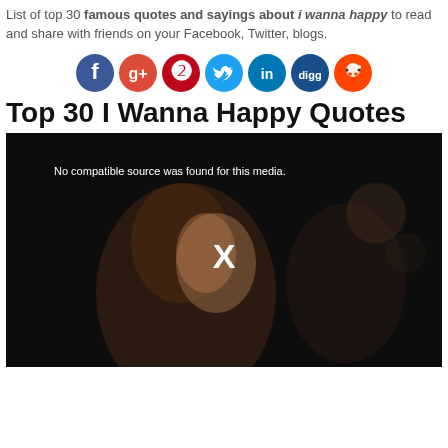List of top 30 famous quotes and sayings about i wanna happy to read and share with friends on your Facebook, Twitter, blogs.
[Figure (infographic): Row of social media sharing icons: Facebook (blue), Google+ (red-orange), Pinterest (red), Twitter (light blue), LinkedIn (dark blue), Digg (navy), Reddit (red)]
Top 30 I Wanna Happy Quotes
[Figure (screenshot): Video player showing a dark scene with a woman in profile view in a movie theater. White text reads 'No compatible source was found for this media.' and a white X button is visible in the center.]